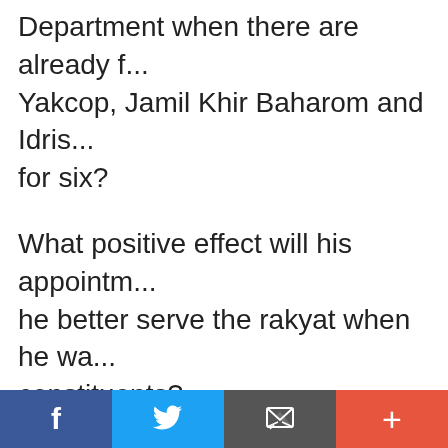Department when there are already f... Yakcop, Jamil Khir Baharom and Idris... for six?
What positive effect will his appointm... he better serve the rakyat when he wa... constituents?
Such considerations, however, don't s... most is the Indian vote. He probably s... support after the unpopular month-lo...
[Figure (other): Social media share bar with four buttons: Facebook (blue), Twitter (light blue), Email (dark grey with envelope icon), and More/Add (red-orange with plus sign)]